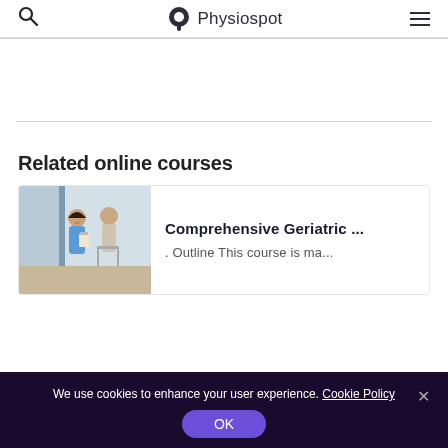Physiospot
Related online courses
[Figure (photo): A nurse in blue scrubs walking alongside an elderly patient using a walker in a bright hallway]
Comprehensive Geriatric ...
. Outline This course is ma...
We use cookies to enhance your user experience. Cookie Policy